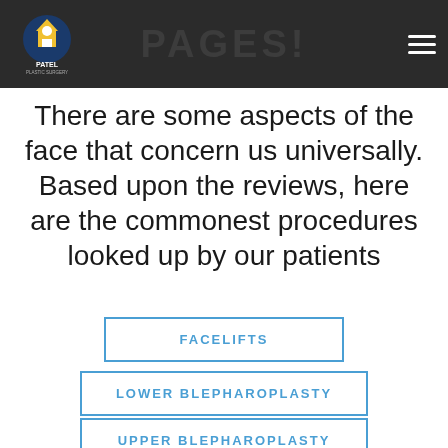PAGES!
There are some aspects of the face that concern us universally. Based upon the reviews, here are the commonest procedures looked up by our patients
FACELIFTS
LOWER BLEPHAROPLASTY
UPPER BLEPHAROPLASTY